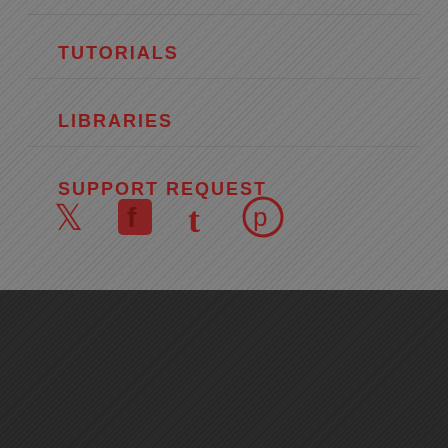TUTORIALS
LIBRARIES
SUPPORT REQUEST
[Figure (illustration): Social media icons: Twitter bird, Facebook f, Tumblr t, Pinterest p — all in dark red on gray textured background]
FAQ  WHERE IS IT USED?  LEGAL  ARCHIVES
Proudly powered by WordPress | Theme: Goran by WordPress.com.